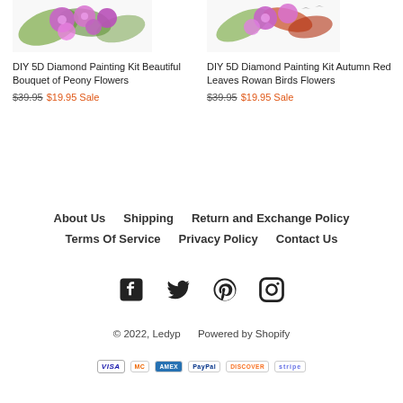[Figure (photo): DIY 5D Diamond Painting product image - Beautiful Bouquet of Peony Flowers with purple/pink flowers and green leaves]
DIY 5D Diamond Painting Kit Beautiful Bouquet of Peony Flowers
$39.95 $19.95 Sale
[Figure (photo): DIY 5D Diamond Painting product image - Autumn Red Leaves Rowan Birds Flowers]
DIY 5D Diamond Painting Kit Autumn Red Leaves Rowan Birds Flowers
$39.95 $19.95 Sale
About Us   Shipping   Return and Exchange Policy   Terms Of Service   Privacy Policy   Contact Us
[Figure (infographic): Social media icons: Facebook, Twitter, Pinterest, Instagram]
© 2022, Ledyp   Powered by Shopify
[Figure (infographic): Payment method icons: VISA, MasterCard, American Express, PayPal, Discover, Stripe]